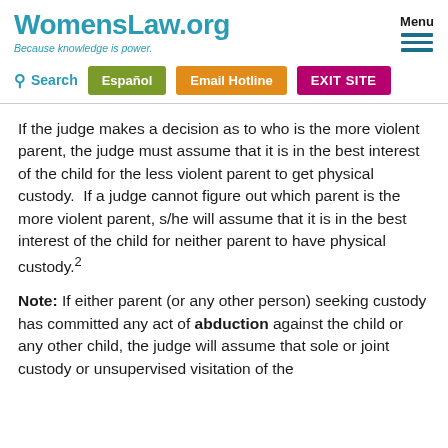WomensLaw.org — Because knowledge is power.
If the judge makes a decision as to who is the more violent parent, the judge must assume that it is in the best interest of the child for the less violent parent to get physical custody.  If a judge cannot figure out which parent is the more violent parent, s/he will assume that it is in the best interest of the child for neither parent to have physical custody.²
Note: If either parent (or any other person) seeking custody has committed any act of abduction against the child or any other child, the judge will assume that sole or joint custody or unsupervised visitation of the